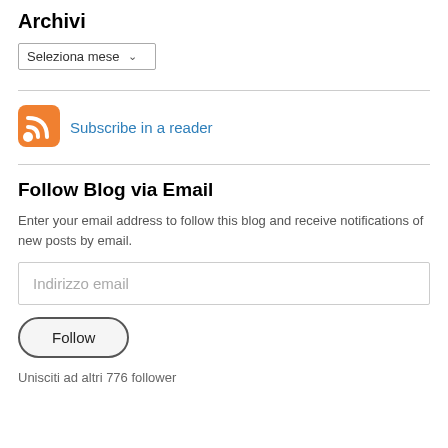Archivi
Seleziona mese
[Figure (other): RSS feed icon - orange rounded square with white RSS signal waves]
Subscribe in a reader
Follow Blog via Email
Enter your email address to follow this blog and receive notifications of new posts by email.
Indirizzo email
Follow
Unisciti ad altri 776 follower